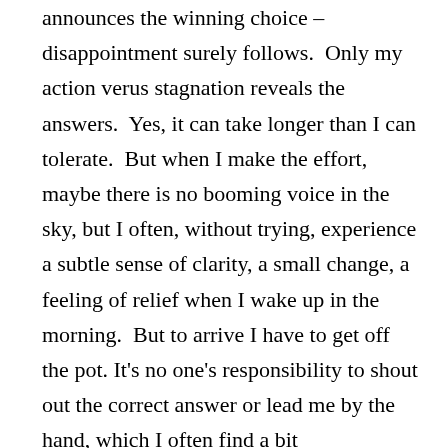announces the winning choice – disappointment surely follows.  Only my action verus stagnation reveals the answers.  Yes, it can take longer than I can tolerate.  But when I make the effort, maybe there is no booming voice in the sky, but I often, without trying, experience a subtle sense of clarity, a small change, a feeling of relief when I wake up in the morning.  But to arrive I have to get off the pot. It's no one's responsibility to shout out the correct answer or lead me by the hand, which I often find a bit disappointing sometimes.
I fully understand my struggle.  I want my next book to be funny and wise and powerful and true.  Even in fiction, every story holds truth.  It's much easier to write about my family, about my mother's recollections, painful as some were, and about our relationship, than to write about the place that